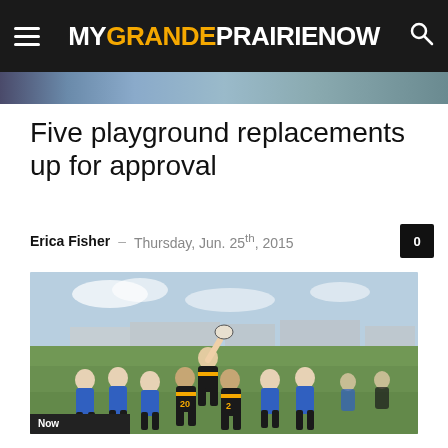MYGRANDEPRAIRIE NOW
[Figure (photo): Partial photo strip at top of page showing people/crowd in background]
Five playground replacements up for approval
Erica Fisher – Thursday, Jun. 25th, 2015
[Figure (photo): Women's rugby players competing in a lineout on a grass field, players in blue and black/orange jerseys, outdoor setting with industrial buildings in background]